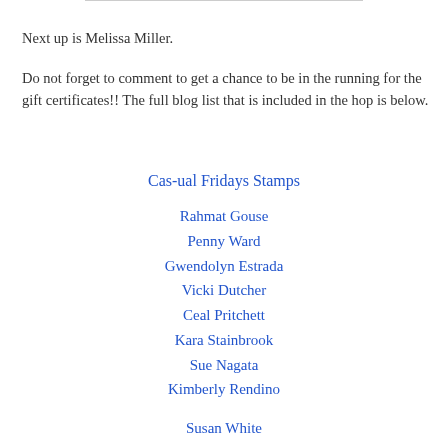Next up is Melissa Miller.
Do not forget to comment to get a chance to be in the running for the gift certificates!! The full blog list that is included in the hop is below.
Cas-ual Fridays Stamps
Rahmat Gouse
Penny Ward
Gwendolyn Estrada
Vicki Dutcher
Ceal Pritchett
Kara Stainbrook
Sue Nagata
Kimberly Rendino
Susan White
Shane Chambers